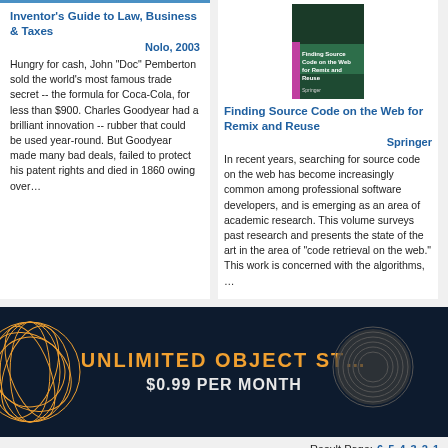Inventor's Guide to Law, Business & Taxes
Nolo, 2003
Hungry for cash, John "Doc" Pemberton sold the world's most famous trade secret -- the formula for Coca-Cola, for less than $900. Charles Goodyear had a brilliant innovation -- rubber that could be used year-round. But Goodyear made many bad deals, failed to protect his patent rights and died in 1860 owing over…
[Figure (illustration): Book cover for Finding Source Code on the Web for Remix and Reuse]
Finding Source Code on the Web for Remix and Reuse
Springer
In recent years, searching for source code on the web has become increasingly common among professional software developers, and is emerging as an area of academic research. This volume surveys past research and presents the state of the art in the area of "code retrieval on the web." This work is concerned with the algorithms, …
[Figure (illustration): Advertisement banner: UNLIMITED OBJECT ST... $0.99 PER MONTH]
Result Page: 6 5 4 3 2 1
©2021 LearnIT (support@pdfchm.net) - Privacy Policy